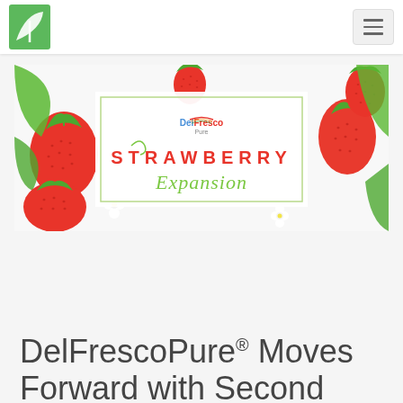DelFrescoPure navigation header with logo and hamburger menu
[Figure (illustration): DelFrescoPure Strawberry Expansion promotional banner with illustrated strawberries, green leaves, white flowers on a white background. Center text reads 'DelFresco Pure' logo above 'STRAWBERRY' in red spaced letters and 'Expansion' in green cursive script.]
DelFrescoPure® Moves Forward with Second Phase